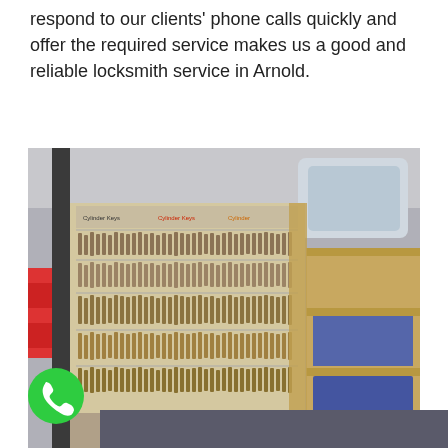respond to our clients' phone calls quickly and offer the required service makes us a good and reliable locksmith service in Arnold.
[Figure (photo): Interior of a locksmith service van showing a wall panel covered with many keys organized in rows, with wooden shelving and equipment on the right side.]
[Figure (photo): Green circular phone icon (call button) at the bottom left, and a partial view of another image to the right.]